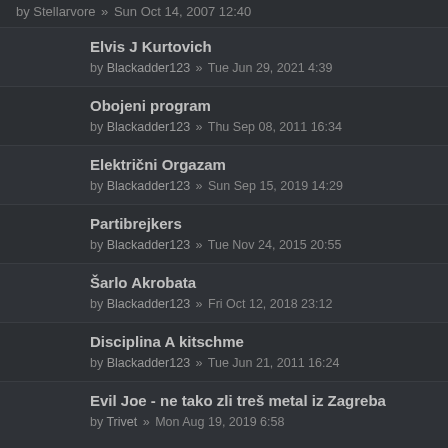by Stellarvore » Sun Oct 14, 2007 12:40
Elvis J Kurtovich
by Blackadder123 » Tue Jun 29, 2021 4:39
Obojeni program
by Blackadder123 » Thu Sep 08, 2011 16:34
Električni Orgazam
by Blackadder123 » Sun Sep 15, 2019 14:29
Partibrejkers
by Blackadder123 » Tue Nov 24, 2015 20:55
Šarlo Akrobata
by Blackadder123 » Fri Oct 12, 2018 23:12
Disciplina A kitschme
by Blackadder123 » Tue Jun 21, 2011 16:24
Evil Joe - ne tako zli treš metal iz Zagreba
by Trivet » Mon Aug 19, 2019 6:58